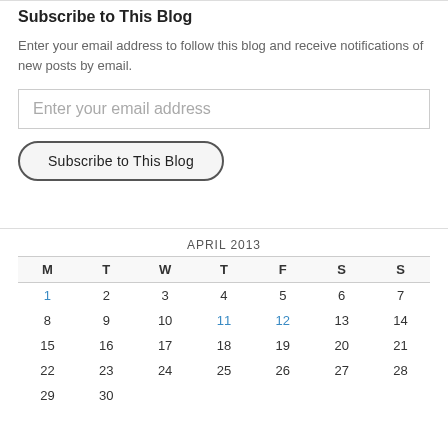Subscribe to This Blog
Enter your email address to follow this blog and receive notifications of new posts by email.
Enter your email address
Subscribe to This Blog
| M | T | W | T | F | S | S |
| --- | --- | --- | --- | --- | --- | --- |
| 1 | 2 | 3 | 4 | 5 | 6 | 7 |
| 8 | 9 | 10 | 11 | 12 | 13 | 14 |
| 15 | 16 | 17 | 18 | 19 | 20 | 21 |
| 22 | 23 | 24 | 25 | 26 | 27 | 28 |
| 29 | 30 |  |  |  |  |  |